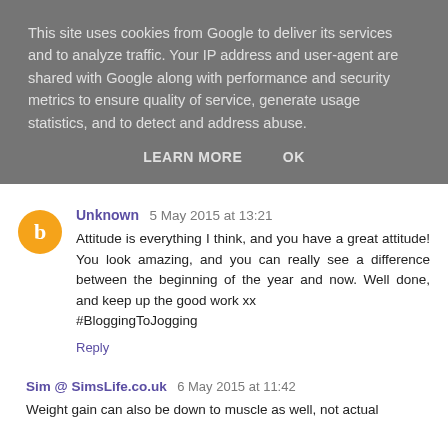This site uses cookies from Google to deliver its services and to analyze traffic. Your IP address and user-agent are shared with Google along with performance and security metrics to ensure quality of service, generate usage statistics, and to detect and address abuse.
LEARN MORE    OK
Unknown 5 May 2015 at 13:21
Attitude is everything I think, and you have a great attitude! You look amazing, and you can really see a difference between the beginning of the year and now. Well done, and keep up the good work xx
#BloggingToJogging
Reply
Sim @ SimsLife.co.uk 6 May 2015 at 11:42
Weight gain can also be down to muscle as well, not actual